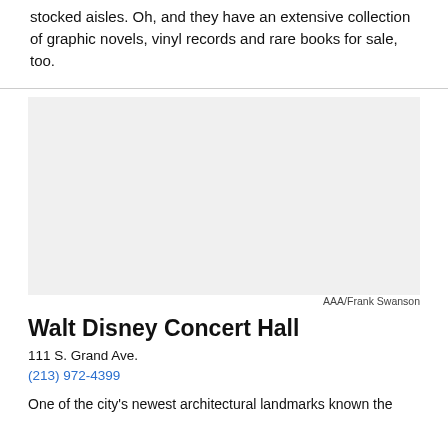stocked aisles. Oh, and they have an extensive collection of graphic novels, vinyl records and rare books for sale, too.
[Figure (photo): Large placeholder/photo area with light gray background, credited to AAA/Frank Swanson]
AAA/Frank Swanson
Walt Disney Concert Hall
111 S. Grand Ave.
(213) 972-4399
One of the city's newest architectural landmarks known the